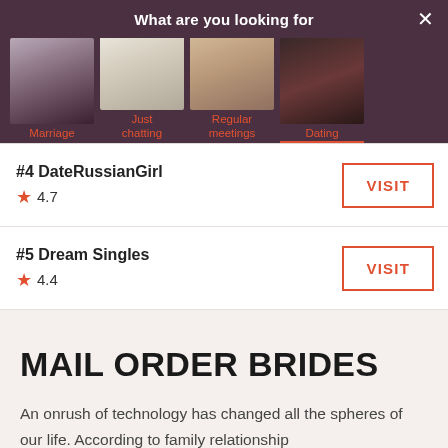What are you looking for
[Figure (photo): Four category images: Marriage, Just chatting, Regular meetings, Dating]
#4 DateRussianGirl
★ 4.7
VISIT
#5 Dream Singles
★ 4.4
VISIT
MAIL ORDER BRIDES
An onrush of technology has changed all the spheres of our life. According to family relationship